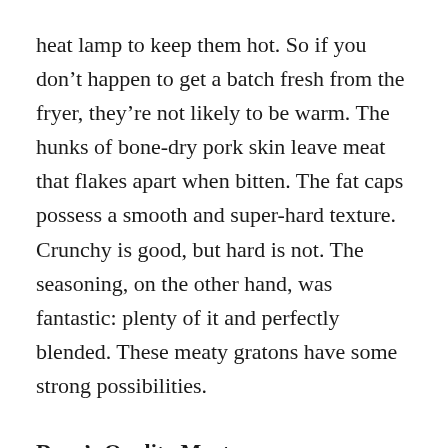heat lamp to keep them hot. So if you don't happen to get a batch fresh from the fryer, they're not likely to be warm. The hunks of bone-dry pork skin leave meat that flakes apart when bitten. The fat caps possess a smooth and super-hard texture. Crunchy is good, but hard is not. The seasoning, on the other hand, was fantastic: plenty of it and perfectly blended. These meaty gratons have some strong possibilities.
Dave's Quality Meats
804 E. Dale St., New Iberia,
337/364-3441